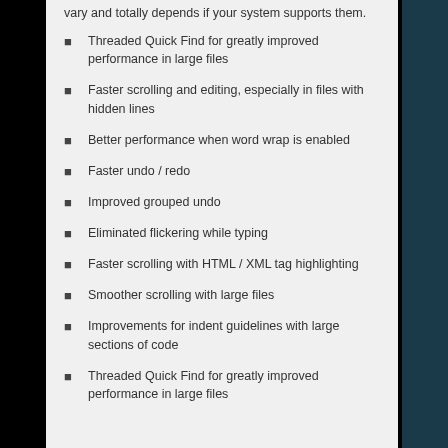vary and totally depends if your system supports them.
Threaded Quick Find for greatly improved performance in large files
Faster scrolling and editing, especially in files with hidden lines
Better performance when word wrap is enabled
Faster undo / redo
Improved grouped undo
Eliminated flickering while typing
Faster scrolling with HTML / XML tag highlighting
Smoother scrolling with large files
Improvements for indent guidelines with large sections of code
Threaded Quick Find for greatly improved performance in large files